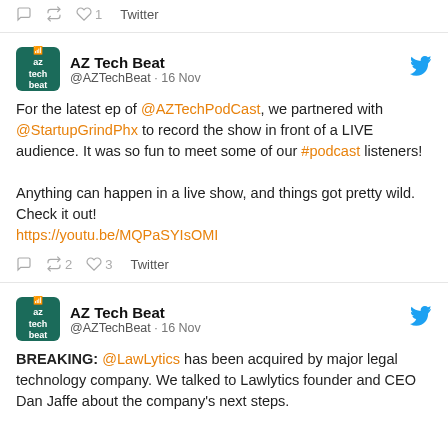♡1  Twitter (action bar top)
AZ Tech Beat @AZTechBeat · 16 Nov — For the latest ep of @AZTechPodCast, we partnered with @StartupGrindPhx to record the show in front of a LIVE audience. It was so fun to meet some of our #podcast listeners!

Anything can happen in a live show, and things got pretty wild. Check it out!
https://youtu.be/MQPaSYIsOMI

♻2  ♡3  Twitter
AZ Tech Beat @AZTechBeat · 16 Nov — BREAKING: @LawLytics has been acquired by major legal technology company. We talked to Lawlytics founder and CEO Dan Jaffe about the company's next steps.